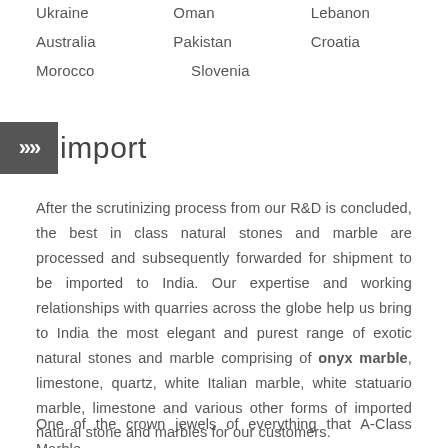Ukraine    Oman    Lebanon
Australia    Pakistan    Croatia
Morocco    Slovenia
[Figure (logo): Dark grey square with double chevron arrows icon and the word 'import' in grey text beside it]
After the scrutinizing process from our R&D is concluded, the best in class natural stones and marble are processed and subsequently forwarded for shipment to be imported to India. Our expertise and working relationships with quarries across the globe help us bring to India the most elegant and purest range of exotic natural stones and marble comprising of onyx marble, limestone, quartz, white Italian marble, white statuario marble, limestone and various other forms of imported natural stone and marbles for our customers.
One of the crown jewels of everything that A-Class Marble